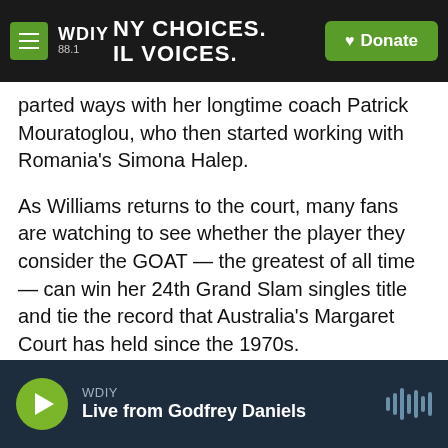WDIY 88.1 — NY CHOICES. ALL VOICES. | Donate
parted ways with her longtime coach Patrick Mouratoglou, who then started working with Romania's Simona Halep.
As Williams returns to the court, many fans are watching to see whether the player they consider the GOAT — the greatest of all time — can win her 24th Grand Slam singles title and tie the record that Australia's Margaret Court has held since the 1970s.
Copyright 2022 NPR. To see more, visit https://www.npr.org.
WDIY — Live from Godfrey Daniels